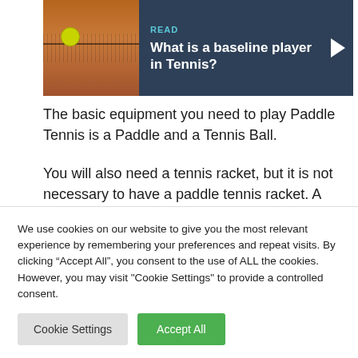[Figure (photo): Article card with tennis court photo on left showing a tennis ball near a net on a clay court, dark navy background on right with 'READ' label in teal and bold white text 'What is a baseline player in Tennis?' and a right-pointing arrow.]
The basic equipment you need to play Paddle Tennis is a Paddle and a Tennis Ball.
You will also need a tennis racket, but it is not necessary to have a paddle tennis racket. A
We use cookies on our website to give you the most relevant experience by remembering your preferences and repeat visits. By clicking “Accept All”, you consent to the use of ALL the cookies. However, you may visit "Cookie Settings" to provide a controlled consent.